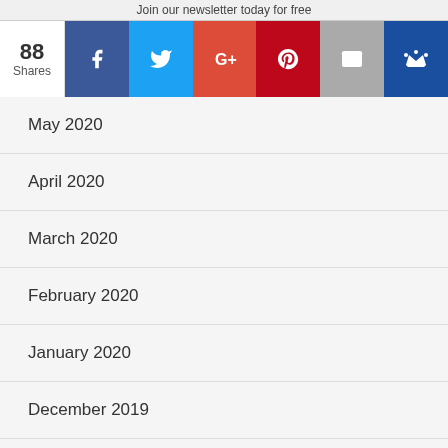Join our newsletter today for free
[Figure (infographic): Social share bar showing 88 Shares with buttons for Facebook, Twitter, Google+, Pinterest, Email, and Crown/bookmark]
May 2020
April 2020
March 2020
February 2020
January 2020
December 2019
October 2019
July 2019